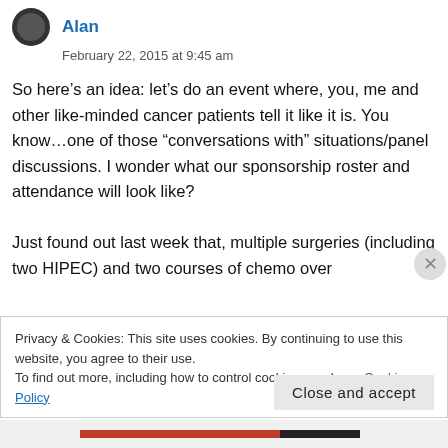Alan
February 22, 2015 at 9:45 am
So here’s an idea: let’s do an event where, you, me and other like-minded cancer patients tell it like it is. You know…one of those “conversations with” situations/panel discussions. I wonder what our sponsorship roster and attendance will look like?

Just found out last week that, multiple surgeries (including two HIPEC) and two courses of chemo over
Privacy & Cookies: This site uses cookies. By continuing to use this website, you agree to their use.
To find out more, including how to control cookies, see here: Cookie Policy